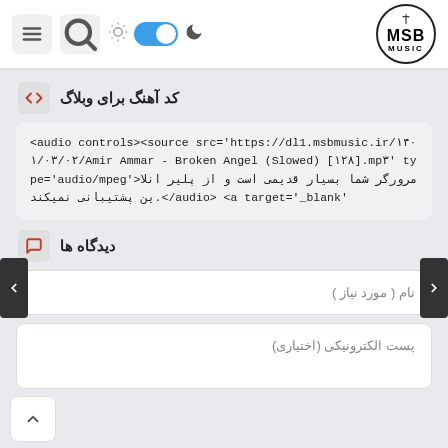MSB MUSIC website header with hamburger menu, search, light/dark toggle, and logo
کد آهنگ برای وبلاگ
<audio controls><source src='https://dl1.msbmusic.ir/۱۴۰۱/۰۳/۰۲/Amir Ammar - Broken Angel (Slowed) [۱۲۸].mp۳' type='audio/mpeg'>مرورگر شما بسیار قدیمی است و از پلیر انلاین پشتیبانی نمیکند.</audio> <a target='_blank'
دیدگاه ها
نام ( مورد نیاز )
پست الکترونیکی (اختیاری)